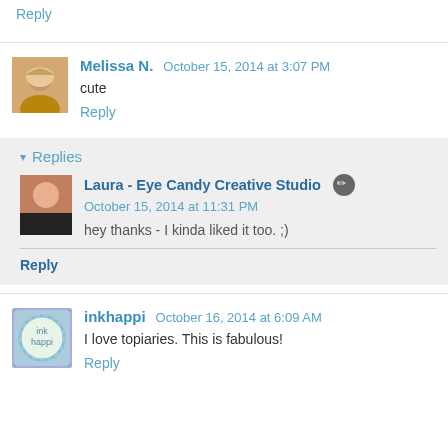Reply
Melissa N. October 15, 2014 at 3:07 PM
cute
Reply
▾ Replies
Laura - Eye Candy Creative Studio  October 15, 2014 at 11:31 PM
hey thanks - I kinda liked it too. ;)
Reply
inkhappi October 16, 2014 at 6:09 AM
I love topiaries. This is fabulous!
Reply